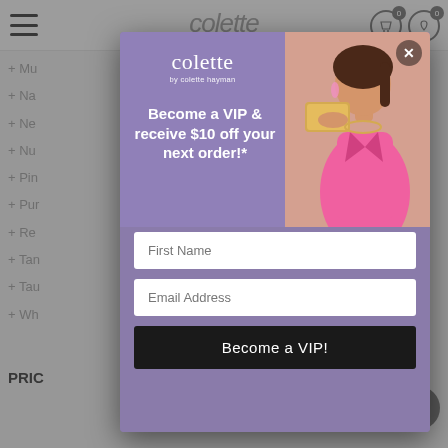[Figure (screenshot): Background website page showing navigation menu with color items (Mu, Na, Ne, Nu, Pin, Pur, Re, Ta, Tau, Wh), header with hamburger menu, colette logo, cart icons, and PRICE label]
[Figure (photo): Modal popup for Colette by Colette Hayman VIP signup. Purple/lavender background on left with branding and form, woman in pink suit holding gold clutch purse on right side. Close X button top right.]
colette
by colette hayman
Become a VIP & receive $10 off your next order!*
First Name
Email Address
Become a VIP!